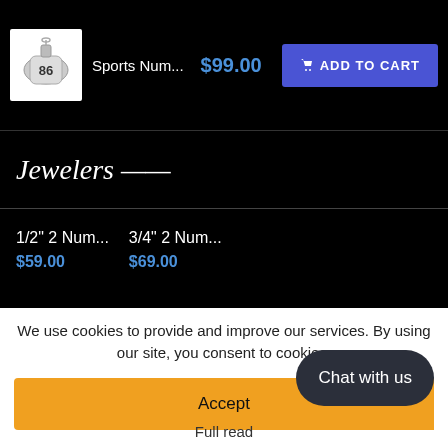[Figure (screenshot): Product cart row showing sports number pendant jewelry image, name 'Sports Num...', price '$99.00', and blue 'ADD TO CART' button on black background]
[Figure (screenshot): Jewelers script/signature logo in white cursive text on black background]
1/2" 2 Num...
$59.00
3/4" 2 Num...
$69.00
We use cookies to provide and improve our services. By using our site, you consent to cookies.
Accept
Chat with us
Full read